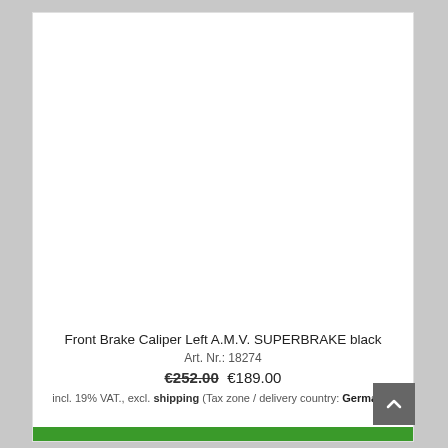[Figure (photo): Product image area — blank white space representing a front brake caliper product photo]
Front Brake Caliper Left A.M.V. SUPERBRAKE black
Art. Nr.: 18274
€252.00  €189.00
incl. 19% VAT., excl. shipping (Tax zone / delivery country: Germany)